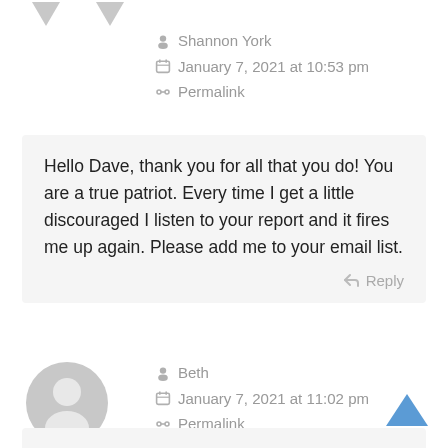[Figure (illustration): Two gray downward-pointing location/comment arrow icons at top left]
Shannon York
January 7, 2021 at 10:53 pm
Permalink
Hello Dave, thank you for all that you do! You are a true patriot. Every time I get a little discouraged I listen to your report and it fires me up again. Please add me to your email list.
Reply
[Figure (illustration): Gray default user avatar circle icon]
Beth
January 7, 2021 at 11:02 pm
Permalink